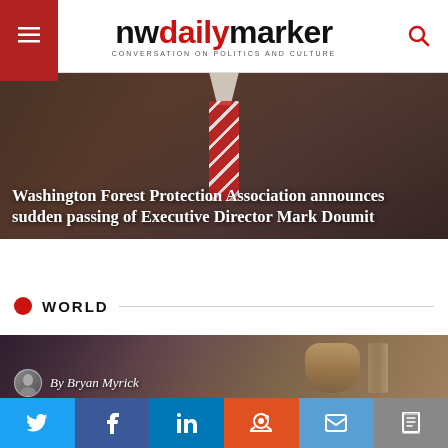nwdailymarker — CONVERSATION ON POLITICS AND CULTURE
[Figure (photo): Hero image of a man in a suit and striped red tie with overlay text headline about Washington Forest Protection Association]
Washington Forest Protection Association announces sudden passing of Executive Director Mark Doumit
WORLD
[Figure (photo): Article card image showing Apollo capsule or spacecraft with author byline 'By Bryan Myrick']
By Bryan Myrick